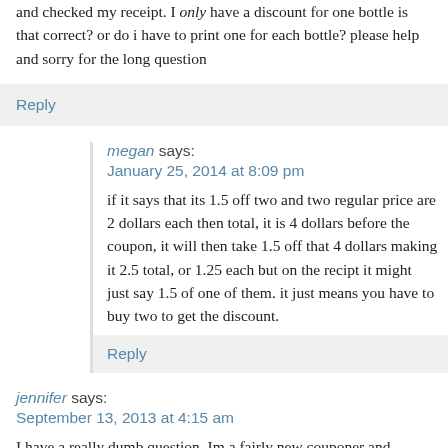and checked my receipt. I only have a discount for one bottle is that correct? or do i have to print one for each bottle? please help and sorry for the long question
Reply
megan says:
January 25, 2014 at 8:09 pm
if it says that its 1.5 off two and two regular price are 2 dollars each then total, it is 4 dollars before the coupon, it will then take 1.5 off that 4 dollars making it 2.5 total, or 1.25 each but on the recipt it might just say 1.5 of one of them. it just means you have to buy two to get the discount.
Reply
jennifer says:
September 13, 2013 at 4:15 am
I have a really dumb question. Im a fairly new couponer and decided to give this so called saving money thing a